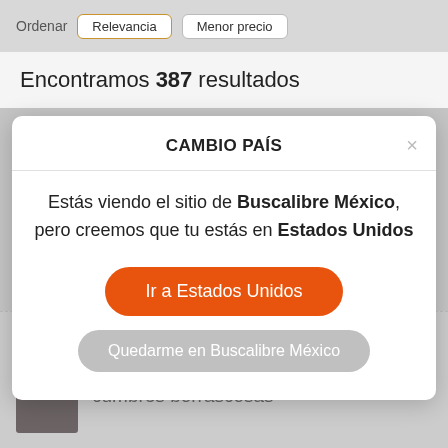[Figure (screenshot): Top navigation bar with sort options: Ordenar, Relevancia (selected with orange border), Menor precio]
Encontramos 387 resultados
[Figure (screenshot): Modal dialog titled CAMBIO PAÍS with message about viewing Buscalibre México but being in Estados Unidos, with two buttons: Ir a Estados Unidos (orange) and Quedarme en Buscalibre México (gray)]
cumbres borrascosas
[Figure (other): Book thumbnail image for cumbres borrascosas with star rating (2) at bottom of page]